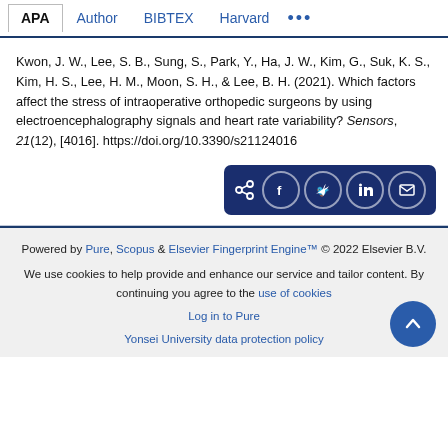APA | Author | BIBTEX | Harvard | ...
Kwon, J. W., Lee, S. B., Sung, S., Park, Y., Ha, J. W., Kim, G., Suk, K. S., Kim, H. S., Lee, H. M., Moon, S. H., & Lee, B. H. (2021). Which factors affect the stress of intraoperative orthopedic surgeons by using electroencephalography signals and heart rate variability? Sensors, 21(12), [4016]. https://doi.org/10.3390/s21124016
[Figure (other): Share buttons row: share icon, Facebook, Twitter, LinkedIn, Email]
Powered by Pure, Scopus & Elsevier Fingerprint Engine™ © 2022 Elsevier B.V.
We use cookies to help provide and enhance our service and tailor content. By continuing you agree to the use of cookies
Log in to Pure
Yonsei University data protection policy